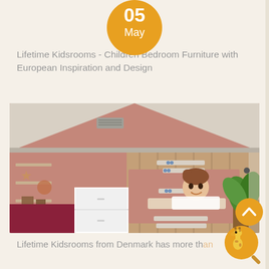[Figure (infographic): Orange circular date badge showing '05 May']
Lifetime Kidsrooms - Children Bedroom Furniture with European Inspiration and Design
[Figure (photo): Photo of a children's bedroom furniture piece styled as a house with a roof, wooden paneling, white drawers, wall shelves, and a young girl peeking through a window opening. Pink walls, star decorations, toys, and a green plant visible.]
Lifetime Kidsrooms from Denmark has more th...